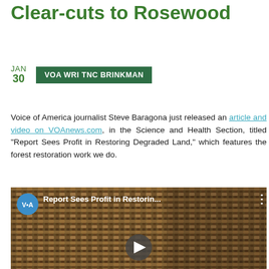Clear-cuts to Rosewood
JAN
30
VOA WRI TNC BRINKMAN
Voice of America journalist Steve Baragona just released an article and video on VOAnews.com, in the Science and Health Section, titled "Report Sees Profit in Restoring Degraded Land," which features the forest restoration work we do.
[Figure (screenshot): Embedded VOA video thumbnail showing a woman being interviewed in front of a woven basket background. VOA logo badge in top left with title 'Report Sees Profit in Restorin...' and a play button overlay in the center.]